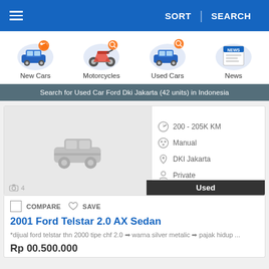≡   SORT | SEARCH
[Figure (infographic): Category icons: New Cars (car with tag), Motorcycles (motorcycle with magnifier), Used Cars (car with magnifier), News (newspaper icon)]
Search for Used Car Ford Dki Jakarta (42 units) in Indonesia
[Figure (screenshot): Car listing card with placeholder car image, specs: 200-205K KM, Manual, DKI Jakarta, Private. Used badge. Photo icon with count 4.]
COMPARE  ♡ SAVE
2001 Ford Telstar 2.0 AX Sedan
*dijual ford telstar thn 2000 tipe chf 2.0 ➡ warna silver metalic ➡ pajak hidup ...
Rp 00.500.000